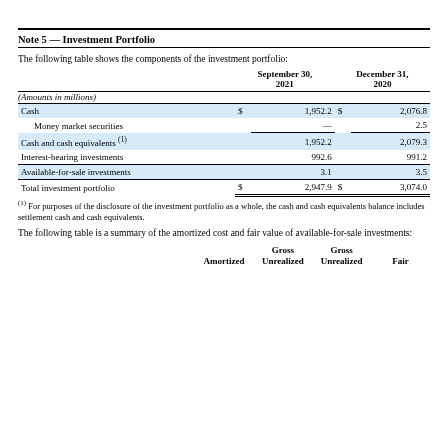Note 5 — Investment Portfolio
The following table shows the components of the investment portfolio:
| (Amounts in millions) | September 30, 2021 | December 31, 2020 |
| --- | --- | --- |
| Cash | $ 1,952.2 | $ 2,076.8 |
| Money market securities | — | 2.5 |
| Cash and cash equivalents (1) | 1,952.2 | 2,079.3 |
| Interest-bearing investments | 992.6 | 991.2 |
| Available-for-sale investments | 3.1 | 3.5 |
| Total investment portfolio | $ 2,947.9 | $ 3,074.0 |
(1) For purposes of the disclosure of the investment portfolio as a whole, the cash and cash equivalents balance includes settlement cash and cash equivalents.
The following table is a summary of the amortized cost and fair value of available-for-sale investments:
|  | Gross Amortized | Gross Unrealized | Unrealized | Fair |
| --- | --- | --- | --- | --- |